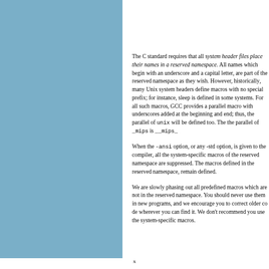[Figure (illustration): Blue rectangular panel on the left side of the page]
The C standard requires that all system header files place their names in a reserved namespace. All names which begin with an underscore and a capital letter, are part of the reserved namespace as they wish. However, historically many Unix system header files define macros with no special prefix; for instance you might find sleep defined in some systems. For all such macros, GCC provides a parallel macro with underscores added at the beginning and end; thus, the parallel of unix is __unix__ will be defined too. The parallel of _mips is __mips__
When the -ansi option, or any -std option, is given to the compiler, all the system-specific macros of the reserved namespace are suppressed. The macros defined in the reserved namespace, remain defined.
We are slowly phasing out all predefined macros which are not in the reserved namespace. You should never use them in new programs, and we encourage you to correct older code to not use them wherever you can find it. We don't recommend you use the system-specific macros that are in the reserved namespace, either. It is better to check specifically for the feature you need.
x